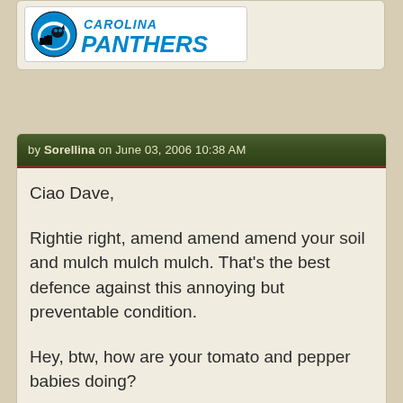[Figure (logo): Carolina Panthers NFL team logo with helmet and stylized text]
by Sorellina on June 03, 2006 10:38 AM
Ciao Dave,

Rightie right, amend amend amend your soil and mulch mulch mulch. That's the best defence against this annoying but preventable condition.

Hey, btw, how are your tomato and pepper babies doing?

Cheers,
Julianna
❊ ❊ ❊ ❊
[Figure (photo): Avatar image labeled 'Tomato Freak' showing a person in a garden]